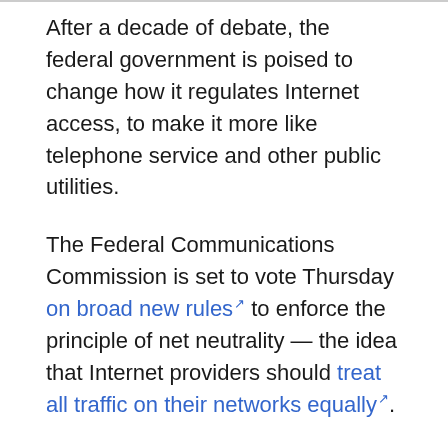After a decade of debate, the federal government is poised to change how it regulates Internet access, to make it more like telephone service and other public utilities.
The Federal Communications Commission is set to vote Thursday on broad new rules [ext link] to enforce the principle of net neutrality — the idea that Internet providers should treat all traffic on their networks equally [ext link].
For the first time, the rules would apply fully to wireless broadband as well — and some big wireless companies are pushing back.
Net neutrality advocates argue that there's only one...